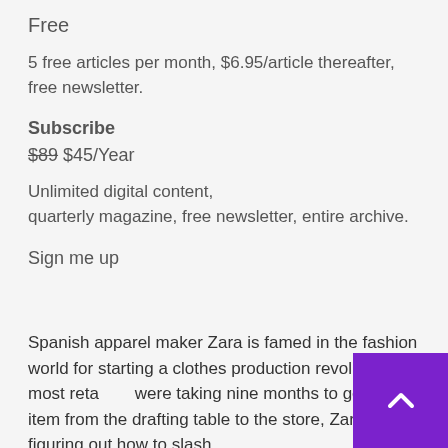Free
5 free articles per month, $6.95/article thereafter, free newsletter.
Subscribe
$89 $45/Year
Unlimited digital content, quarterly magazine, free newsletter, entire archive.
Sign me up
Spanish apparel maker Zara is famed in the fashion world for starting a clothes production revolution. When most retailers were taking nine months to get a clothing item from the drafting table to the store, Zara was figuring out how to slash